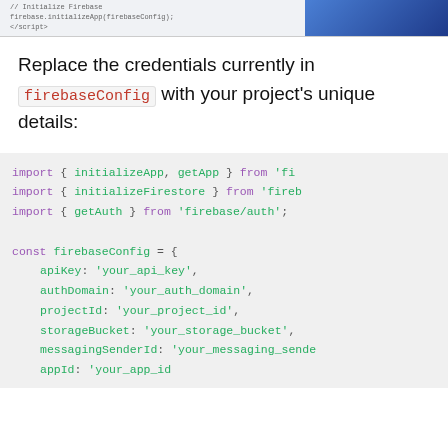[Figure (screenshot): Top portion of a code editor screenshot showing Firebase initialization code snippet with blue decorative element on the right]
Replace the credentials currently in firebaseConfig with your project's unique details:
[Figure (screenshot): Code block showing JavaScript Firebase imports and firebaseConfig object with placeholder values: import { initializeApp, getApp } from 'fi...', import { initializeFirestore } from 'fireb...', import { getAuth } from 'firebase/auth';, const firebaseConfig = { apiKey: 'your_api_key', authDomain: 'your_auth_domain', projectId: 'your_project_id', storageBucket: 'your_storage_bucket', messagingSenderId: 'your_messaging_sende...', appId: 'your_app_id']